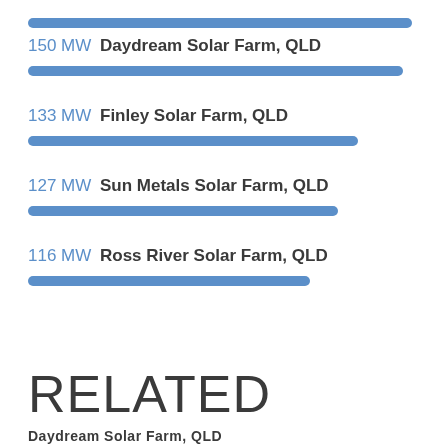[Figure (bar-chart): Solar Farms by Capacity]
RELATED
Daydream Solar Farm, QLD